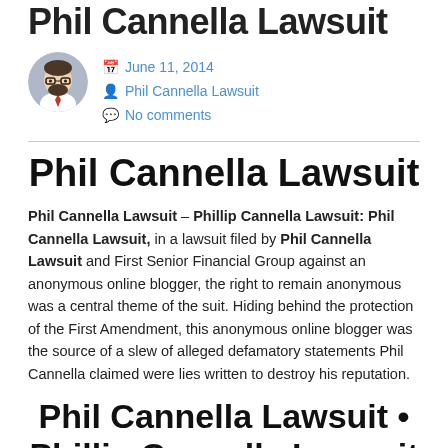Phil Cannella Lawsuit
[Figure (illustration): Circular avatar/profile image of a cartoon-style person with glasses and a beard]
June 11, 2014
Phil Cannella Lawsuit
No comments
Phil Cannella Lawsuit
Phil Cannella Lawsuit – Phillip Cannella Lawsuit: Phil Cannella Lawsuit,  in a lawsuit filed by Phil Cannella Lawsuit and First Senior Financial Group against an anonymous online blogger, the right to remain anonymous was a central theme of the suit. Hiding behind the protection of the First Amendment, this anonymous online blogger was the source of a slew of alleged defamatory statements Phil Cannella claimed were lies written to destroy his reputation.
Phil Cannella Lawsuit • Phillip Cannella Lawsuit